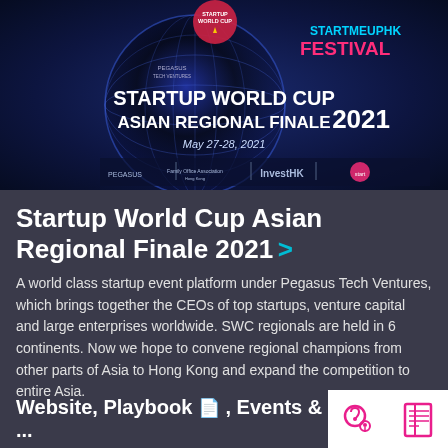[Figure (illustration): Startup World Cup Asian Regional Finale 2021 event banner featuring a globe graphic, STARTMEUPHK FESTIVAL branding, Pegasus Tech Ventures logo, date May 27-28 2021, with partner logos including InvestHK and startmeup.hk]
Startup World Cup Asian Regional Finale 2021 >
A world class startup event platform under Pegasus Tech Ventures, which brings together the CEOs of top startups, venture capital and large enterprises worldwide. SWC regionals are held in 6 continents. Now we hope to convene regional champions from other parts of Asia to Hong Kong and expand the competition to entire Asia.